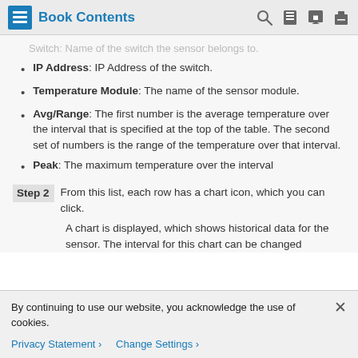Book Contents
Switch: Name of the switch the sensor belongs to.
IP Address: IP Address of the switch.
Temperature Module: The name of the sensor module.
Avg/Range: The first number is the average temperature over the interval that is specified at the top of the table. The second set of numbers is the range of the temperature over that interval.
Peak: The maximum temperature over the interval
Step 2  From this list, each row has a chart icon, which you can click.
A chart is displayed, which shows historical data for the sensor. The interval for this chart can be changed
By continuing to use our website, you acknowledge the use of cookies.
Privacy Statement > Change Settings >